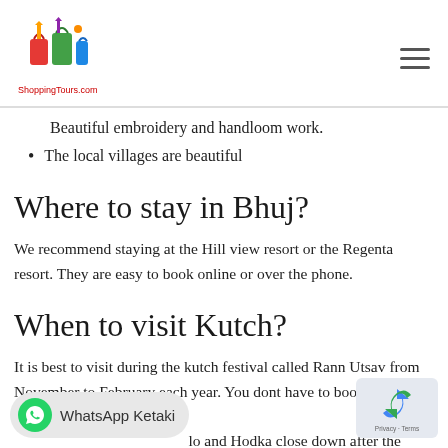ShoppingTours.com (logo with Delhi illustration)
Beautiful embroidery and handloom work.
The local villages are beautiful
Where to stay in Bhuj?
We recommend staying at the Hill view resort or the Regenta resort. They are easy to book online or over the phone.
When to visit Kutch?
It is best to visit during the kutch festival called Rann Utsav from November to February each year. You dont have to book from Rannutsav. Many hotels and Hodka close down after the festival. However, you will always be able to find